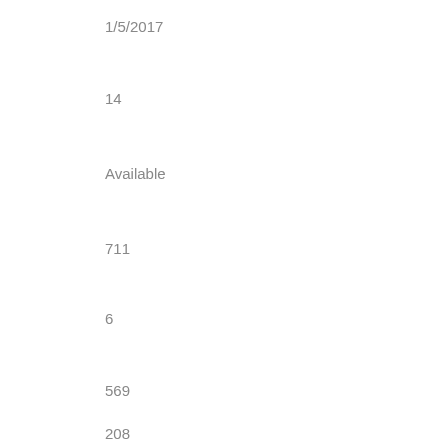1/5/2017
14
Available
711
6
569
208